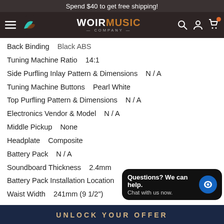Spend $40 to get free shipping!
[Figure (logo): Woir Music Company logo with teal/brown leaf icon and nav bar icons]
Back Binding    Black ABS
Tuning Machine Ratio    14:1
Side Purfling Inlay Pattern & Dimensions    N / A
Tuning Machine Buttons    Pearl White
Top Purfling Pattern & Dimensions    N / A
Electronics Vendor & Model    N / A
Middle Pickup    None
Headplate    Composite
Battery Pack    N / A
Soundboard Thickness    2.4mm
Battery Pack Installation Location    N / A
Waist Width    241mm (9 1/2")
UNLOCK YOUR OFFER